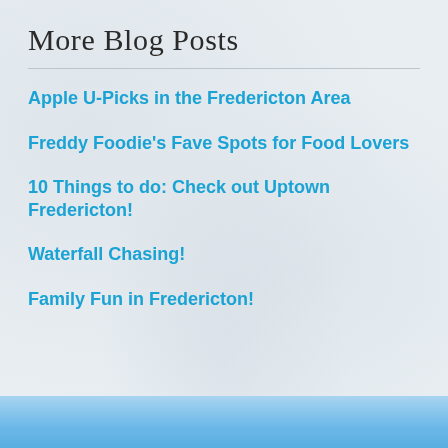More Blog Posts
Apple U-Picks in the Fredericton Area
Freddy Foodie's Fave Spots for Food Lovers
10 Things to do: Check out Uptown Fredericton!
Waterfall Chasing!
Family Fun in Fredericton!